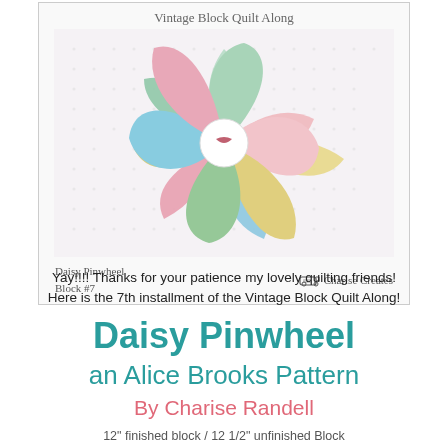[Figure (photo): Daisy Pinwheel quilt block photo with decorative card showing a colorful pinwheel made of pastel fabric petals on a white dotted background. Header reads 'Vintage Block Quilt Along' in script. Footer shows 'Daisy Pinwheel Block #7' and 'Charise Creates' with sewing machine icon.]
Yay!!!! Thanks for your patience my lovely quilting friends! Here is the 7th installment of the Vintage Block Quilt Along!
Daisy Pinwheel
an Alice Brooks Pattern
By Charise Randell
12" finished block / 12 1/2" unfinished Block